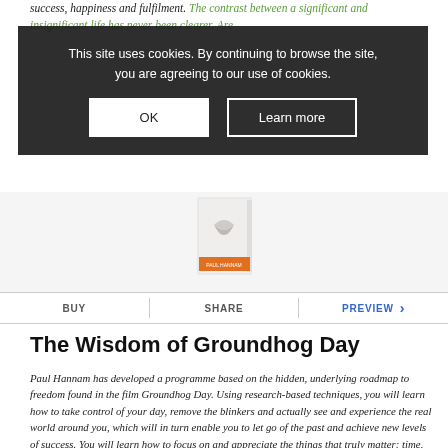success, happiness and fulfilment. The contrast between a significant and insignificant life has never been clearer. Are yo...
[Figure (screenshot): Cookie consent overlay with dark background, showing message 'This site uses cookies. By continuing to browse the site, you are agreeing to our use of cookies.' with OK and Learn more buttons]
[Figure (photo): Book cover image for The Wisdom of Groundhog Day by Paul Hannam]
[Figure (screenshot): Action bar with BUY, SHARE, and PREVIEW options]
The Wisdom of Groundhog Day
Paul Hannam has developed a programme based on the hidden, underlying roadmap to freedom found in the film Groundhog Day. Using research-based techniques, you will learn how to take control of your day, remove the blinkers and actually see and experience the real world around you, which will in turn enable you to let go of the past and achieve new levels of success. You will learn how to focus on and appreciate the things that truly matter: time, security, mental health and authentic happiness, and discover a life of joy and fulfilment